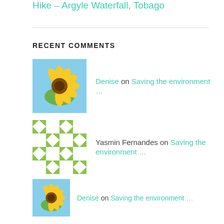Hike – Argyle Waterfall, Tobago
RECENT COMMENTS
Denise on Saving the environment …
Yasmin Fernandes on Saving the environment …
Denise on Saving the environment …
Debbie on Saving the environment …
Denise on Bermuda
ARCHIVES